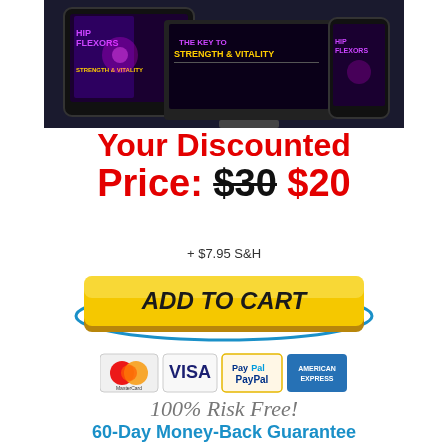[Figure (illustration): Product mockup showing Hip Flexors book displayed on a tablet, desktop monitor, and smartphone]
Your Discounted Price: $30 $20
+ $7.95 S&H
[Figure (illustration): Yellow ADD TO CART button with blue oval border]
[Figure (illustration): Payment icons: MasterCard, VISA, PayPal, American Express]
100% Risk Free! 60-Day Money-Back Guarantee